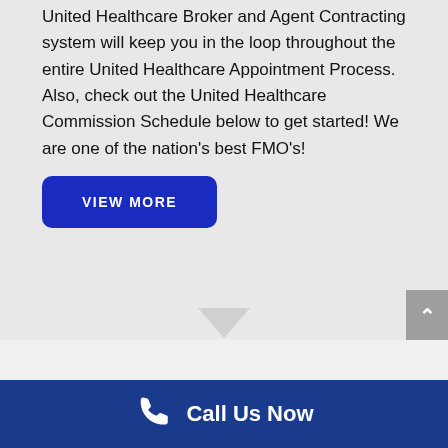United Healthcare Broker and Agent Contracting system will keep you in the loop throughout the entire United Healthcare Appointment Process. Also, check out the United Healthcare Commission Schedule below to get started! We are one of the nation's best FMO's!
[Figure (other): Dark blue rounded rectangle button with white uppercase text reading VIEW MORE]
[Figure (other): Gray scroll-to-top button on right edge with white upward chevron arrow]
[Figure (other): Downward-pointing gray arrow/chevron indicating scroll down or section divider]
Call Us Now